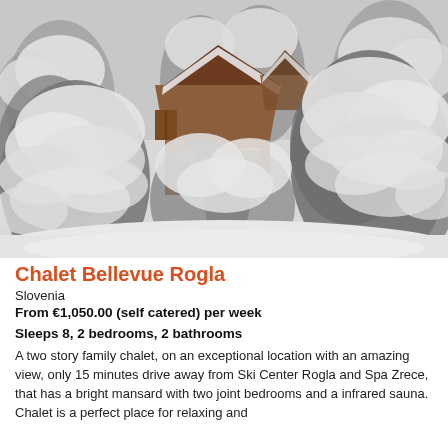[Figure (photo): Winter snow scene showing a wooden chalet surrounded by heavily snow-covered evergreen trees. The chalet has a distinctive A-frame style with wooden balcony, set among a forest of fir trees blanketed in deep snow.]
Chalet Bellevue Rogla
Slovenia
From €1,050.00 (self catered) per week
Sleeps 8, 2 bedrooms, 2 bathrooms
A two story family chalet, on an exceptional location with an amazing view, only 15 minutes drive away from Ski Center Rogla and Spa Zrece, that has a bright mansard with two joint bedrooms and a infrared sauna. Chalet is a perfect place for relaxing and